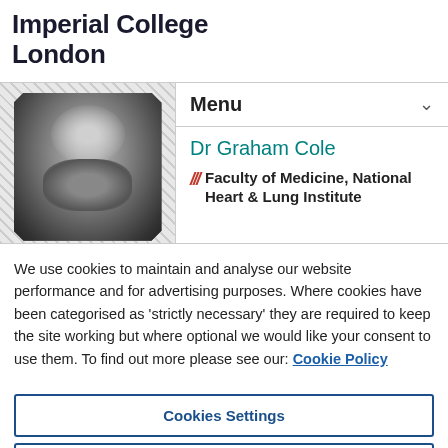Imperial College London
[Figure (photo): Black and white headshot photo of Dr Graham Cole, cropped with octagonal clip, showing the top half of a bald man's face]
Menu
Dr Graham Cole
/// Faculty of Medicine, National Heart & Lung Institute
We use cookies to maintain and analyse our website performance and for advertising purposes. Where cookies have been categorised as 'strictly necessary' they are required to keep the site working but where optional we would like your consent to use them. To find out more please see our: Cookie Policy
Cookies Settings